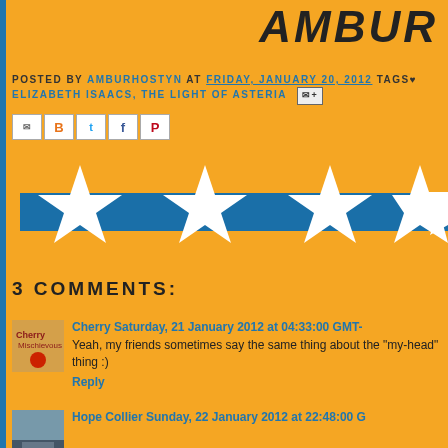AMBUR
POSTED BY AMBURHOSTYN AT FRIDAY, JANUARY 20, 2012 TAGS♥ ELIZABETH ISAACS, THE LIGHT OF ASTERIA
[Figure (illustration): Social share buttons: email, Blogger (B), Twitter (t), Facebook (f), Pinterest (P)]
[Figure (illustration): A blue horizontal banner with 5 white star shapes overlaid, rating graphic]
3 COMMENTS:
Cherry  Saturday, 21 January 2012 at 04:33:00 GMT-
Yeah, my friends sometimes say the same thing about the "my-head" thing :)
Reply
Hope Collier  Sunday, 22 January 2012 at 22:48:00 G